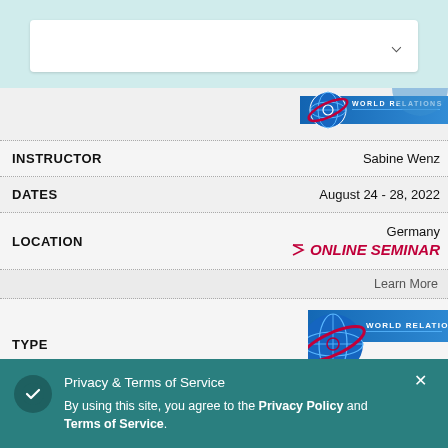Search bar with dropdown chevron
| Field | Value |
| --- | --- |
| INSTRUCTOR | Sabine Wenz |
| DATES | August 24 - 28, 2022 |
| LOCATION | Germany / ONLINE SEMINAR |
Learn More
| Field | Value |
| --- | --- |
| TYPE | WORLD RELATIONS |
| INSTRUCTOR | Christine Sonneh... |
| DATES | ...022 |
| LOCATION | ...rica / ONLINE SEMINAR |
Privacy & Terms of Service
By using this site, you agree to the Privacy Policy and Terms of Service.